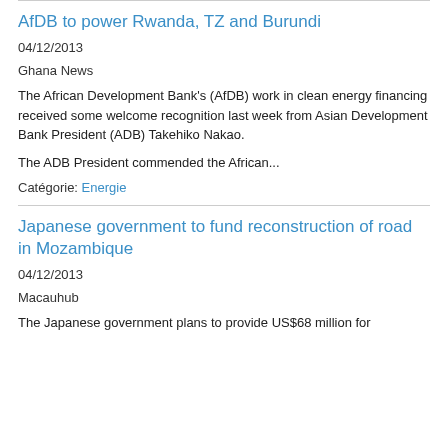AfDB to power Rwanda, TZ and Burundi
04/12/2013
Ghana News
The African Development Bank's (AfDB) work in clean energy financing received some welcome recognition last week from Asian Development Bank President (ADB) Takehiko Nakao.
The ADB President commended the African...
Catégorie: Energie
Japanese government to fund reconstruction of road in Mozambique
04/12/2013
Macauhub
The Japanese government plans to provide US$68 million for